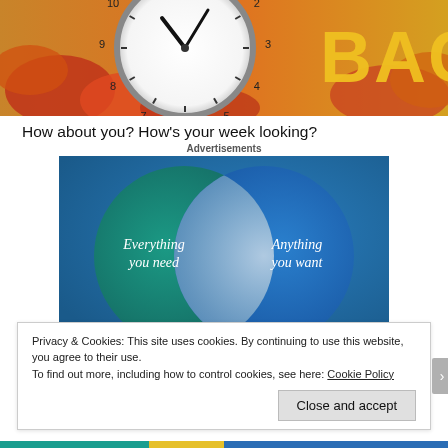[Figure (photo): Clock face with autumn maple leaves and bold yellow text 'BACK' on right side]
How about you? How's your week looking?
Advertisements
[Figure (infographic): Advertisement with teal-blue gradient background showing two overlapping circles (Venn diagram). Left circle (green/teal) labeled 'Everything you need', right circle (blue) labeled 'Anything you want', with a lighter overlap area in the center.]
Privacy & Cookies: This site uses cookies. By continuing to use this website, you agree to their use.
To find out more, including how to control cookies, see here: Cookie Policy